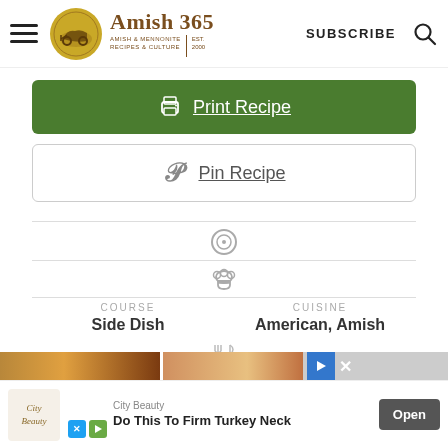Amish 365 – AMISH & MENNONITE RECIPES & CULTURE – EST. 2000 | SUBSCRIBE
Print Recipe
Pin Recipe
COURSE
Side Dish
CUISINE
American, Amish
[Figure (other): Ad strip with food images]
City Beauty
Do This To Firm Turkey Neck